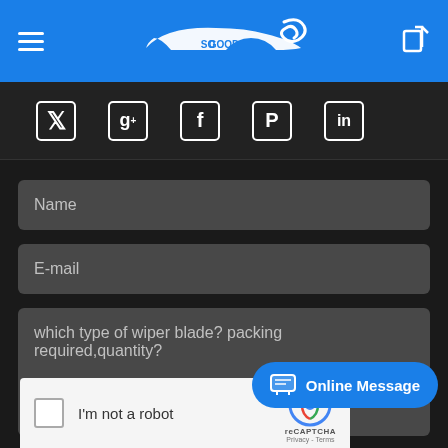So Good logo header with hamburger menu and share icon
[Figure (logo): So Good car brand logo in white on blue background]
[Figure (infographic): Social media icons: Twitter, Google+, Facebook, Pinterest, LinkedIn on dark background]
Name
E-mail
which type of wiper blade? packing required,quantity?
[Figure (screenshot): reCAPTCHA widget: checkbox with 'I'm not a robot' and reCAPTCHA logo with Privacy - Terms]
Online Message